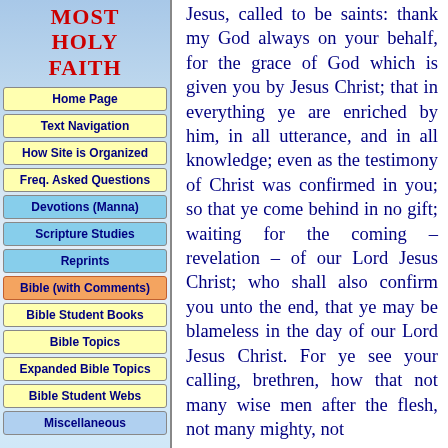MOST HOLY FAITH
Home Page
Text Navigation
How Site is Organized
Freq. Asked Questions
Devotions (Manna)
Scripture Studies
Reprints
Bible (with Comments)
Bible Student Books
Bible Topics
Expanded Bible Topics
Bible Student Webs
Miscellaneous
Jesus, called to be saints: thank my God always on your behalf, for the grace of God which is given you by Jesus Christ; that in everything ye are enriched by him, in all utterance, and in all knowledge; even as the testimony of Christ was confirmed in you; so that ye come behind in no gift; waiting for the coming – revelation – of our Lord Jesus Christ; who shall also confirm you unto the end, that ye may be blameless in the day of our Lord Jesus Christ. For ye see your calling, brethren, how that not many wise men after the flesh, not many mighty, not